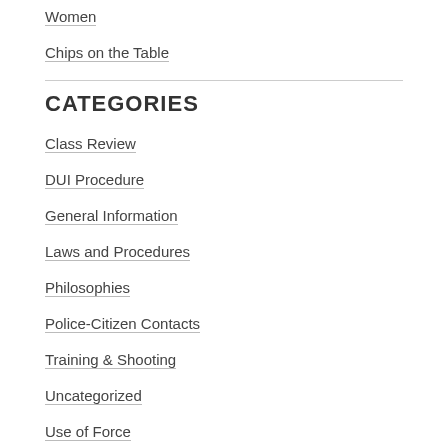Women
Chips on the Table
CATEGORIES
Class Review
DUI Procedure
General Information
Laws and Procedures
Philosophies
Police-Citizen Contacts
Training & Shooting
Uncategorized
Use of Force